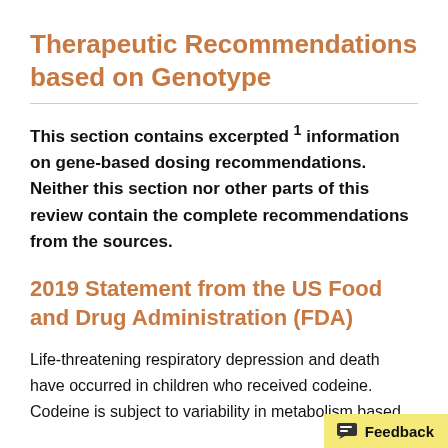Therapeutic Recommendations based on Genotype
This section contains excerpted 1 information on gene-based dosing recommendations. Neither this section nor other parts of this review contain the complete recommendations from the sources.
2019 Statement from the US Food and Drug Administration (FDA)
Life-threatening respiratory depression and death have occurred in children who received codeine. Codeine is subject to variability in metabolism based